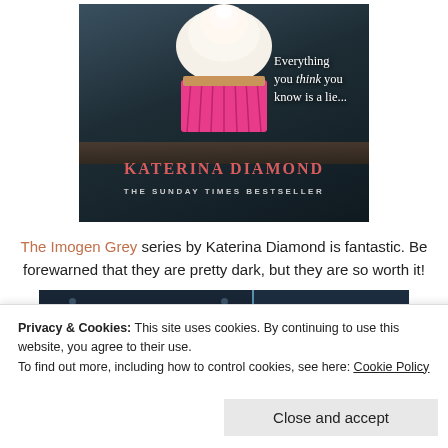[Figure (photo): Book cover for Katerina Diamond's novel showing a cupcake with white frosting in a pink wrapper on a dark background. Text reads 'Everything you think you know is a lie...' in white. Author name KATERINA DIAMOND in red and 'THE SUNDAY TIMES BESTSELLER' at the bottom.]
The Imogen Grey series by Katerina Diamond is fantastic. Be forewarned that they are pretty dark, but they are so worth it!
[Figure (screenshot): Partial view of a website showing a dark-themed book cover banner.]
Privacy & Cookies: This site uses cookies. By continuing to use this website, you agree to their use.
To find out more, including how to control cookies, see here: Cookie Policy
Close and accept